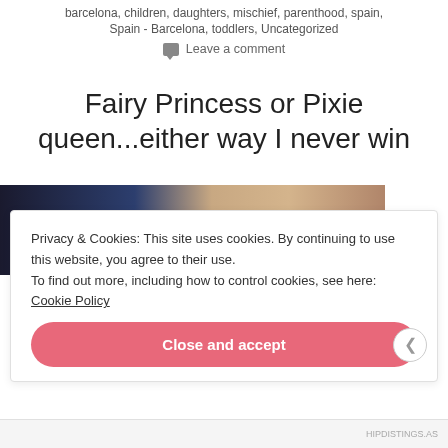barcelona, children, daughters, mischief, parenthood, spain, Spain - Barcelona, toddlers, Uncategorized
Leave a comment
Fairy Princess or Pixie queen...either way I never win
[Figure (photo): Partial photo of a room, dark on the left side with a child visible on the right side near a wall]
Privacy & Cookies: This site uses cookies. By continuing to use this website, you agree to their use. To find out more, including how to control cookies, see here: Cookie Policy
Close and accept